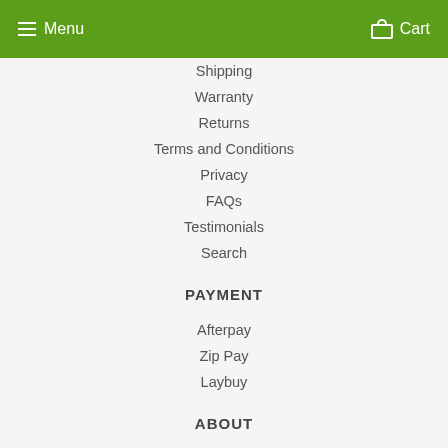Menu   Cart
Shipping
Warranty
Returns
Terms and Conditions
Privacy
FAQs
Testimonials
Search
PAYMENT
Afterpay
Zip Pay
Laybuy
ABOUT
About HeyHey
Business Membership